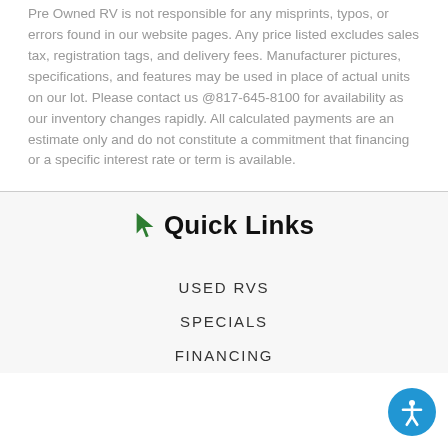Pre Owned RV is not responsible for any misprints, typos, or errors found in our website pages. Any price listed excludes sales tax, registration tags, and delivery fees. Manufacturer pictures, specifications, and features may be used in place of actual units on our lot. Please contact us @817-645-8100 for availability as our inventory changes rapidly. All calculated payments are an estimate only and do not constitute a commitment that financing or a specific interest rate or term is available.
Quick Links
USED RVS
SPECIALS
FINANCING